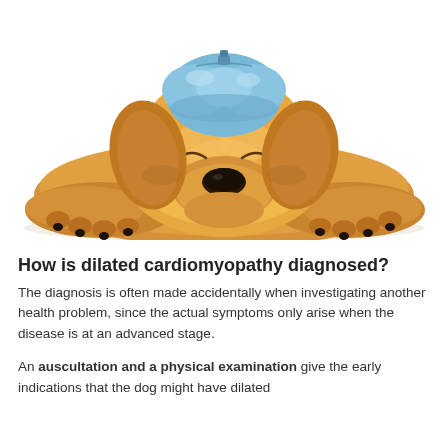[Figure (photo): A golden retriever puppy lying down with eyes closed and a blue ice pack/hot water bottle resting on its head, on a white background.]
How is dilated cardiomyopathy diagnosed?
The diagnosis is often made accidentally when investigating another health problem, since the actual symptoms only arise when the disease is at an advanced stage.
An auscultation and a physical examination give the early indications that the dog might have dilated